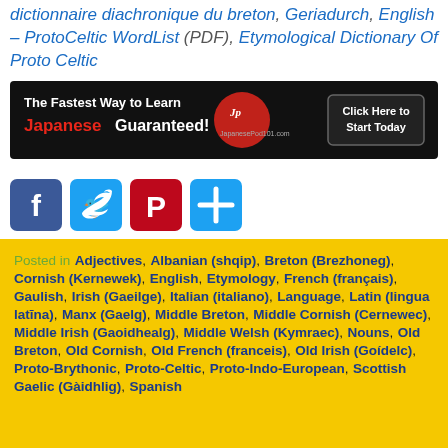dictionnaire diachronique du breton, Geriadurch, English – ProtoCeltic WordList (PDF), Etymological Dictionary Of Proto Celtic
[Figure (screenshot): JapanesePod101 advertisement banner: 'The Fastest Way to Learn Japanese Guaranteed!' with logo and 'Click Here to Start Today' button on dark background]
[Figure (infographic): Social media share buttons: Facebook (blue), Twitter (light blue), Pinterest (red), and a plus/share button (light blue)]
Posted in Adjectives, Albanian (shqip), Breton (Brezhoneg), Cornish (Kernewek), English, Etymology, French (français), Gaulish, Irish (Gaeilge), Italian (italiano), Language, Latin (lingua latīna), Manx (Gaelg), Middle Breton, Middle Cornish (Cernewec), Middle Irish (Gaoidhealg), Middle Welsh (Kymraec), Nouns, Old Breton, Old Cornish, Old French (franceis), Old Irish (Goídelc), Proto-Brythonic, Proto-Celtic, Proto-Indo-European, Scottish Gaelic (Gàidhlig), Spanish